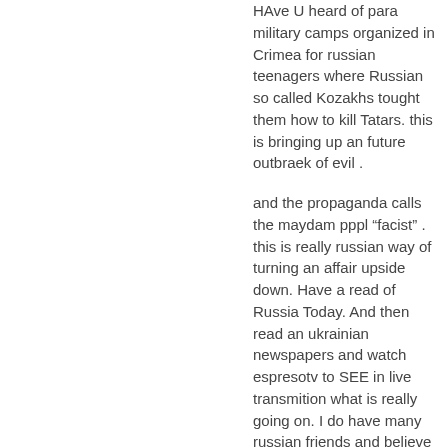HAve U heard of para military camps organized in Crimea for russian teenagers where Russian so called Kozakhs tought them how to kill Tatars. this is bringing up an future outbraek of evil .
and the propaganda calls the maydam pppl “facist” . this is really russian way of turning an affair upside down. Have a read of Russia Today. And then read an ukrainian newspapers and watch espresotv to SEE in live transmition what is really going on. I do have many russian friends and believe or not all of them support independent Ukraine with crimea penisula.